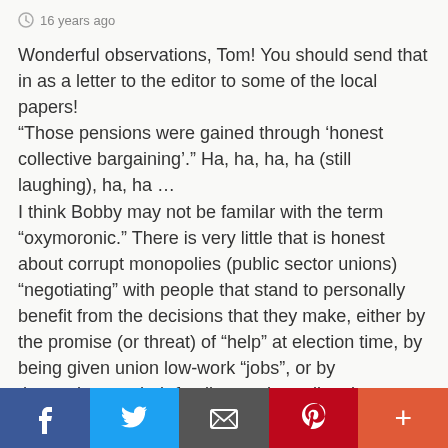16 years ago
Wonderful observations, Tom! You should send that in as a letter to the editor to some of the local papers!
“Those pensions were gained through ‘honest collective bargaining’.” Ha, ha, ha, ha (still laughing), ha, ha …
I think Bobby may not be familar with the term “oxymoronic.” There is very little that is honest about corrupt monopolies (public sector unions) “negotiating” with people that stand to personally benefit from the decisions that they make, either by the promise (or threat) of “help” at election time, by being given union low-work “jobs”, or by themselves or their family members directly benefiting financially.
f  🐦  ✉  p  +